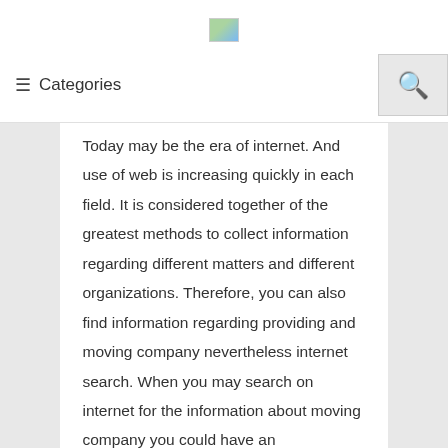[Figure (logo): Small logo image placeholder in header]
≡ Categories
Today may be the era of internet. And use of web is increasing quickly in each field. It is considered together of the greatest methods to collect information regarding different matters and different organizations. Therefore, you can also find information regarding providing and moving company nevertheless internet search. When you may search on internet for the information about moving company you could have an